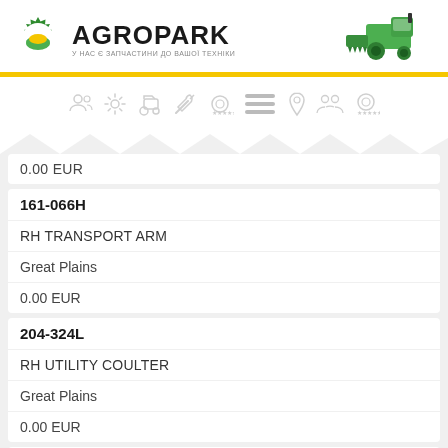[Figure (logo): Agropark logo with gear/wheat icon and combine harvester photo]
[Figure (infographic): Navigation icons row: people, settings, tractor, tools, target with stars, location pin, team, target with stars]
0.00 EUR
| 161-066H |
| RH TRANSPORT ARM |
| Great Plains |
| 0.00 EUR |
| 204-324L |
| RH UTILITY COULTER |
| Great Plains |
| 0.00 EUR |
| 2981404 |
| RH VENT SPRING 8 |
| Great Plains |